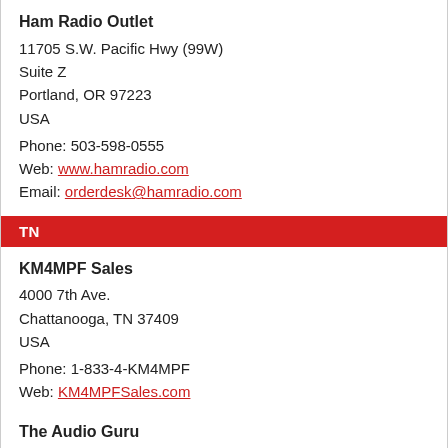Ham Radio Outlet
11705 S.W. Pacific Hwy (99W)
Suite Z
Portland, OR 97223
USA
Phone: 503-598-0555
Web: www.hamradio.com
Email: orderdesk@hamradio.com
TN
KM4MPF Sales
4000 7th Ave.
Chattanooga, TN 37409
USA
Phone: 1-833-4-KM4MPF
Web: KM4MPFSales.com
The Audio Guru
203 Colleen Court
Maryville, TN 37801